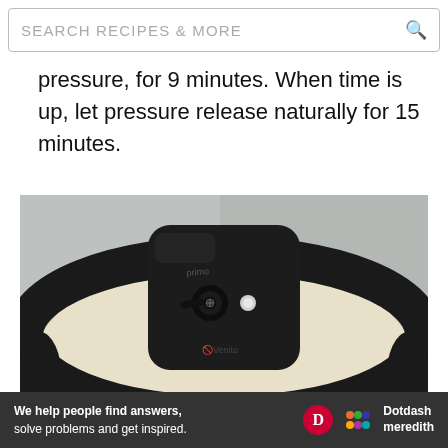SEARCH RECIPES & MORE
pressure, for 9 minutes. When time is up, let pressure release naturally for 15 minutes.
[Figure (photo): Top-down view of a pressure cooker lid showing the pressure release valve and lock button, with a black plastic body and cream/beige pot visible beneath.]
We help people find answers, solve problems and get inspired. Dotdash meredith